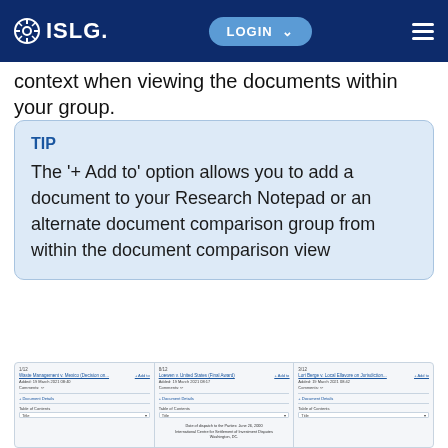ISLG — LOGIN (navigation header)
context when viewing the documents within your group.
TIP
The '+ Add to' option allows you to add a document to your Research Notepad or an alternate document comparison group from within the document comparison view
[Figure (screenshot): Screenshot of the ISLG document comparison interface showing three document columns side by side, each with a document title, 'Added' date, Comments field, Document Details section, and Table of Contents dropdown. The middle and bottom columns show additional content including 'Date of dispatch to the Parties: June 26, 2000' and 'International Centre for Settlement of Investment Disputes, Washington, DC.']